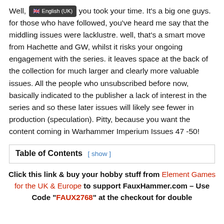Well, you took your time. It's a big one guys. for those who have followed, you've heard me say that the middling issues were lacklustre. well, that's a smart move from Hachette and GW, whilst it risks your ongoing engagement with the series. it leaves space at the back of the collection for much larger and clearly more valuable issues. All the people who unsubscribed before now, basically indicated to the publisher a lack of interest in the series and so these later issues will likely see fewer in production (speculation). Pitty, because you want the content coming in Warhammer Imperium Issues 47 -50!
| Table of Contents |
| --- |
| [ show ] |
Click this link & buy your hobby stuff from Element Games for the UK & Europe to support FauxHammer.com – Use Code "FAUX2768" at the checkout for double